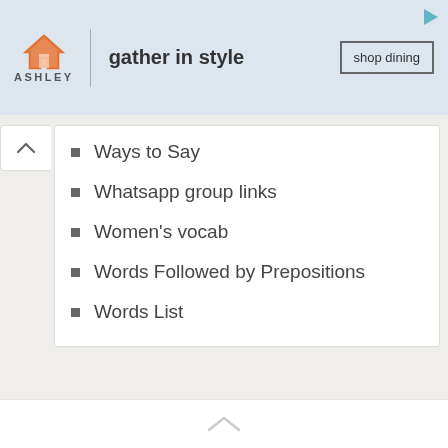[Figure (other): Ashley Furniture advertisement banner with house logo, 'gather in style' tagline, and 'shop dining' button]
Ways to Say
Whatsapp group links
Women's vocab
Words Followed by Prepositions
Words List
EngDic Copyright © 2022.
Home | Vocabulary | Grammar | English Speaking | Literature | Example Sentences